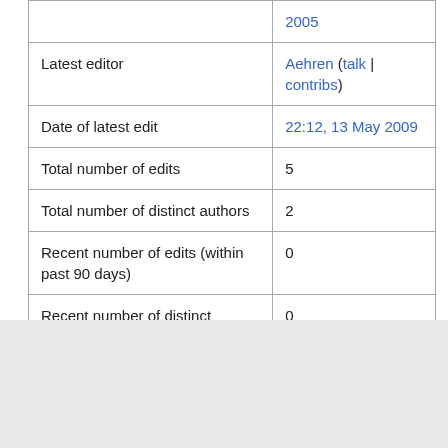|  | 2005 |
| Latest editor | Aehren (talk | contribs) |
| Date of latest edit | 22:12, 13 May 2009 |
| Total number of edits | 5 |
| Total number of distinct authors | 2 |
| Recent number of edits (within past 90 days) | 0 |
| Recent number of distinct authors | 0 |